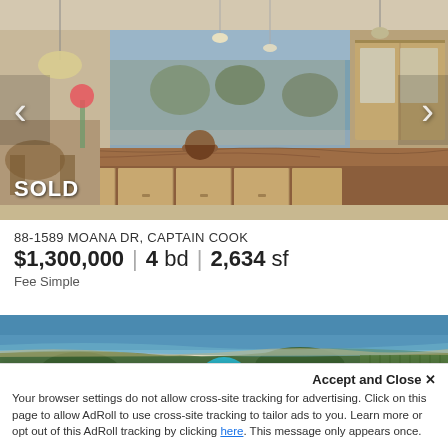[Figure (photo): Interior kitchen photo showing granite countertop island with pendant lights, wooden cabinets, and ocean/landscape view through large windows. 'SOLD' label in bottom left corner.]
88-1589 MOANA DR, CAPTAIN COOK
$1,300,000 | 4 bd | 2,634 sf
Fee Simple
[Figure (photo): Aerial photo of coastal landscape with green vegetation, ocean shoreline, and blue water visible. Aloha button/overlay partially visible.]
Accept and Close ✕
Your browser settings do not allow cross-site tracking for advertising. Click on this page to allow AdRoll to use cross-site tracking to tailor ads to you. Learn more or opt out of this AdRoll tracking by clicking here. This message only appears once.